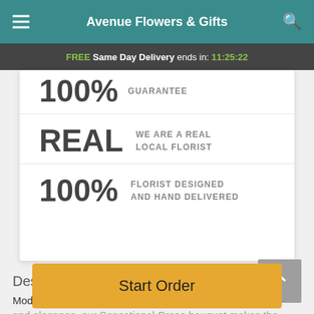Avenue Flowers & Gifts
FREE Same Day Delivery ends in: 11:25:22
100% GUARANTEE
REAL WE ARE A REAL LOCAL FLORIST
100% FLORIST DESIGNED AND HAND DELIVERED
Description
Modern, stylish, and classic all in one. Bursting with class and elegance, our Sensational Creso bouquet makes the
Start Order